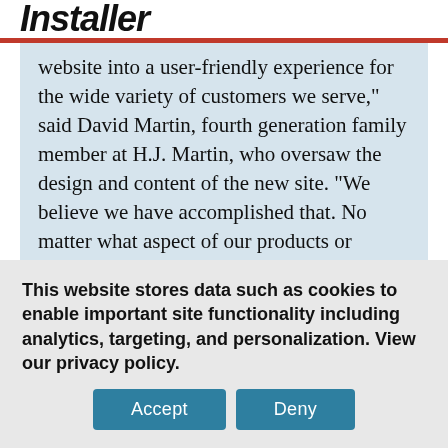Installer
website into a user-friendly experience for the wide variety of customers we serve,” said David Martin, fourth generation family member at H.J. Martin, who oversaw the design and content of the new site. “We believe we have accomplished that. No matter what aspect of our products or services someone is looking for, they should be able to find it easily, along with seeing it visually through photos.”
This website stores data such as cookies to enable important site functionality including analytics, targeting, and personalization. View our privacy policy.
Accept   Deny